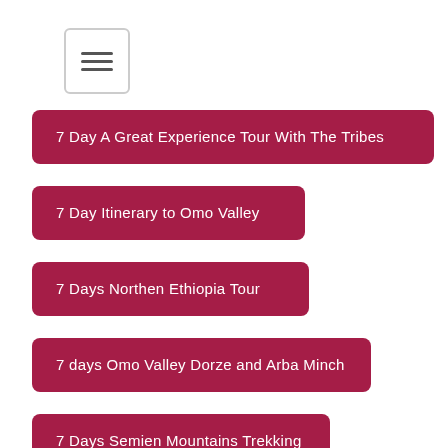[Figure (other): Hamburger menu button icon with three horizontal lines]
7 Day A Great Experience Tour With The Tribes
7 Day Itinerary to Omo Valley
7 Days Northen Ethiopia Tour
7 days Omo Valley Dorze and Arba Minch
7 Days Semien Mountains Trekking
7 Days Trekking Simien Mountains